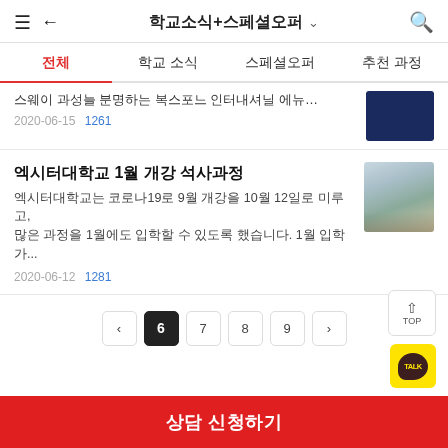학교소식+스페셜오퍼
전체 | 학교 소식 | 스페셜오퍼 | 추천 과정
스웨이 과성늘 분명하는 복스포느 인터내셔닐 에뉴케이션 그...
2020-06-15  1261
엑시터대학교 1월 개강 석사과정
엑시터대학교는 코로나19로 9월 개강을 10월 12일로 미루고, 많은 과정을 1월에도 입학할 수 있도록 했습니다. 1월 입학 가...
2020-06-12  1281
< 6 7 8 9 >
상담 신청하기